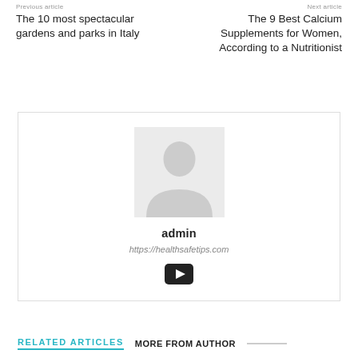Previous article
Next article
The 10 most spectacular gardens and parks in Italy
The 9 Best Calcium Supplements for Women, According to a Nutritionist
[Figure (illustration): Author box with a placeholder avatar image (silhouette person icon on light grey background), bold username 'admin', italic URL 'https://healthsafetips.com', and a YouTube icon button]
admin
https://healthsafetips.com
RELATED ARTICLES   MORE FROM AUTHOR